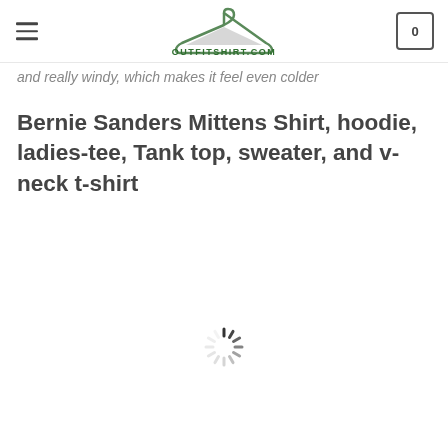OUTFITSHIRT.COM
and really windy, which makes it feel even colder
Bernie Sanders Mittens Shirt, hoodie, ladies-tee, Tank top, sweater, and v-neck t-shirt
[Figure (other): Loading spinner animation]